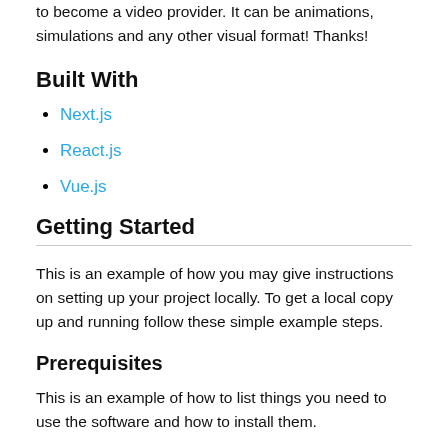to become a video provider. It can be animations, simulations and any other visual format! Thanks!
Built With
Next.js
React.js
Vue.js
Getting Started
This is an example of how you may give instructions on setting up your project locally. To get a local copy up and running follow these simple example steps.
Prerequisites
This is an example of how to list things you need to use the software and how to install them.